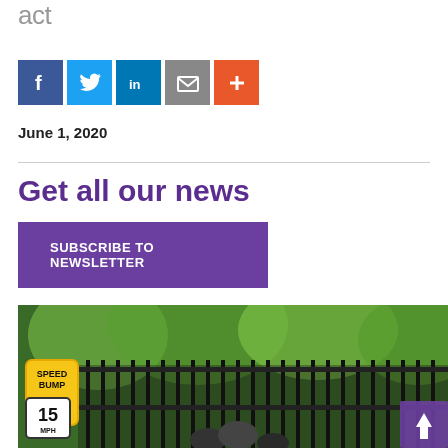act
[Figure (other): Social media share icons: Facebook (blue), Twitter (light blue), LinkedIn (dark blue), Email (gray), More/Plus (orange-red)]
June 1, 2020
Get all our news
SUBSCRIBE TO NEWSLETTER
[Figure (photo): Outdoor street scene with trees, an iron fence, a yellow speed bump sign reading 'SPEED BUMP 15 MPH', and people walking on the sidewalk wearing masks. Purple scroll-up button visible in bottom right corner.]